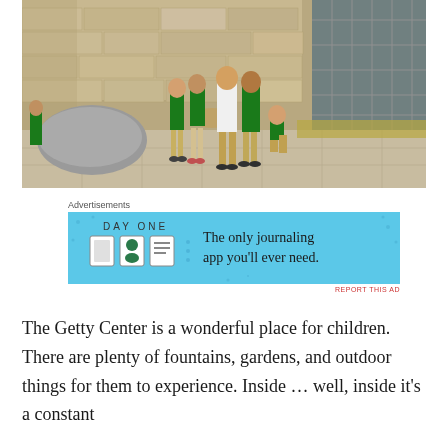[Figure (photo): Children standing with their backs to the camera in a stone-walled courtyard with tiled floor, looking at a water feature. The Getty Center interior courtyard with limestone walls, a large rock sculpture on the left, and a glass wall on the right. Several children in school uniforms explore the space.]
Advertisements
[Figure (screenshot): Advertisement for DayOne journaling app. Light blue background with DAY ONE logo and three app icons on the left, tagline 'The only journaling app you'll ever need.' on the right. Small 'REPORT THIS AD' link below.]
The Getty Center is a wonderful place for children.  There are plenty of fountains, gardens, and outdoor things for them to experience.  Inside ... well, inside it's a constant